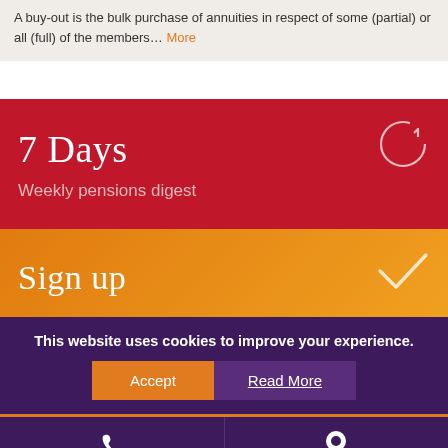A buy-out is the bulk purchase of annuities in respect of some (partial) or all (full) of the members... More
7 Days
Weekly pensions digest
Sign up
This website uses cookies to improve your experience.
Accept  Read More
[Figure (infographic): Footer bar with phone icon and location pin icon, two columns, purple background with orange top border]